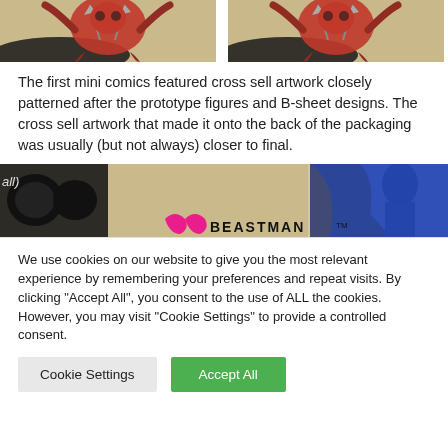[Figure (photo): Two side-by-side comic/illustration images showing a red creature or character with flags/arrows, on a tan background. Left and right images are nearly identical.]
The first mini comics featured cross sell artwork closely patterned after the prototype figures and B-sheet designs. The cross sell artwork that made it onto the back of the packaging was usually (but not always) closer to final.
[Figure (photo): A cropped image from a mini comic showing a dark-helmeted character and blue-armored figure, with text reading 'BEASTMAN TM' at the bottom. The label 'all)' appears at the left edge.]
We use cookies on our website to give you the most relevant experience by remembering your preferences and repeat visits. By clicking "Accept All", you consent to the use of ALL the cookies. However, you may visit "Cookie Settings" to provide a controlled consent.